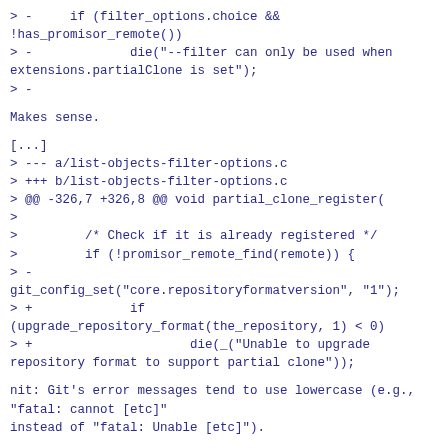> -     if (filter_options.choice &&
!has_promisor_remote())
> -             die("--filter can only be used when
extensions.partialClone is set");
> -
Makes sense.
[...]
> --- a/list-objects-filter-options.c
> +++ b/list-objects-filter-options.c
> @@ -326,7 +326,8 @@ void partial_clone_register(
>
>         /* Check if it is already registered */
>         if (!promisor_remote_find(remote)) {
> -
git_config_set("core.repositoryformatversion", "1");
> +             if
(upgrade_repository_format(the_repository, 1) < 0)
> +                     die(_("Unable to upgrade
repository format to support partial clone"));
nit: Git's error messages tend to use lowercase (e.g.,
"fatal: cannot [etc]"
instead of "fatal: Unable [etc]").
>             /* Add promisor config for the remote
*/
>             cfg_name =
xstrfmt("remote.%s.promisor", remote);